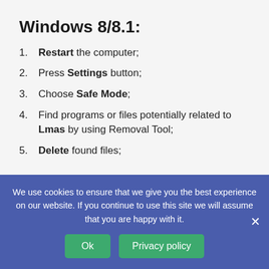Windows 8/8.1:
Restart the computer;
Press Settings button;
Choose Safe Mode;
Find programs or files potentially related to Lmas by using Removal Tool;
Delete found files;
Windows 10:
Restart the computer;
We use cookies to ensure that we give you the best experience on our website. If you continue to use this site we will assume that you are happy with it.